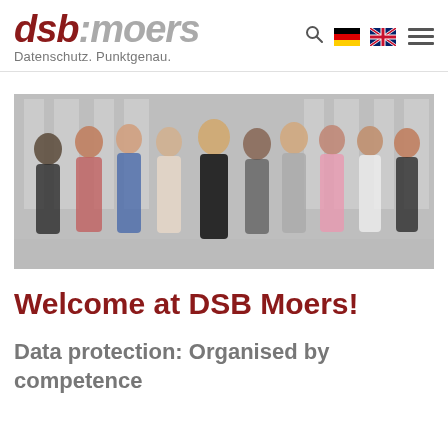dsb:moers – Datenschutz. Punktgenau.
[Figure (photo): Group photo of approximately 10 DSB Moers team members standing together in front of a building with large windows, dressed in professional attire.]
Welcome at DSB Moers!
Data protection: Organised by competence